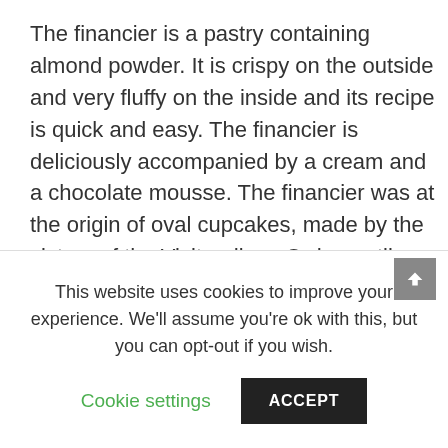The financier is a pastry containing almond powder. It is crispy on the outside and very fluffy on the inside and its recipe is quick and easy. The financier is deliciously accompanied by a cream and a chocolate mousse. The financier was at the origin of oval cupcakes, made by the sisters of the Visitandines Order, until others decided to reproduce the recipe by giving it a different shape. The legend ... in the 1890s ... whose shop ... d the recipe ... go to satisfy ... ssmen in a ... ls dirty.
This website uses cookies to improve your experience. We'll assume you're ok with this, but you can opt-out if you wish.
Cookie settings
ACCEPT